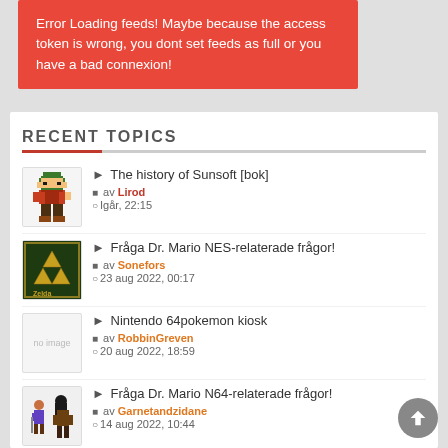Error Loading feeds! Maybe because the access token is wrong, you dont set feeds as full or you have a bad connexion!
RECENT TOPICS
The history of Sunsoft [bok] av Lirod Igår, 22:15
Fråga Dr. Mario NES-relaterade frågor! av Sonefors 23 aug 2022, 00:17
Nintendo 64pokemon kiosk av RobbinGreven 20 aug 2022, 18:59
Fråga Dr. Mario N64-relaterade frågor! av Garnetandzidane 14 aug 2022, 10:44